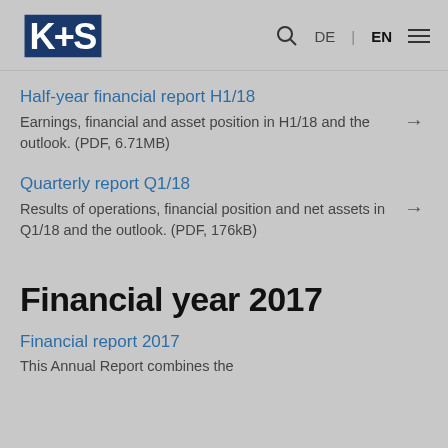K+S | DE | EN
Half-year financial report H1/18 — Earnings, financial and asset position in H1/18 and the outlook. (PDF, 6.71MB)
Quarterly report Q1/18 — Results of operations, financial position and net assets in Q1/18 and the outlook. (PDF, 176kB)
Financial year 2017
Financial report 2017 — This Annual Report combines the…